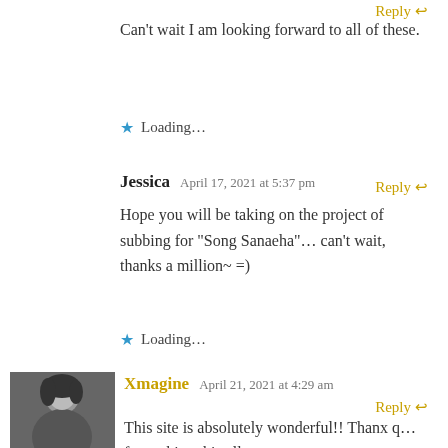Can't wait I am looking forward to all of these.
Loading...
Reply
Jessica  April 17, 2021 at 5:37 pm
Hope you will be taking on the project of subbing for "Song Sanaeha"… can't wait, thanks a million~ =)
Loading...
Xmagine  April 21, 2021 at 4:29 am
Reply
This site is absolutely wonderful!! Thanx q… for making this all